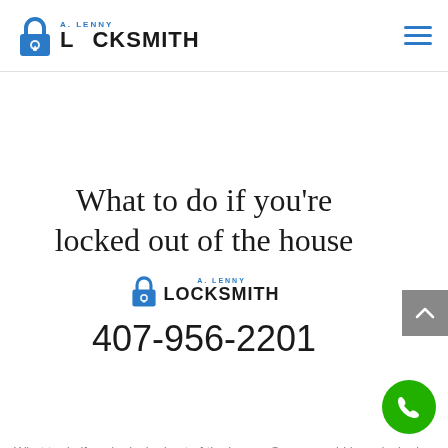A. Lenny Locksmith — navigation header with logo and hamburger menu
What to do if you're locked out of the house
[Figure (logo): A. Lenny Locksmith logo with padlock icon]
407-956-2201
What to do if you're locked out of the house. So you could have locked your self out of your house. Oops!